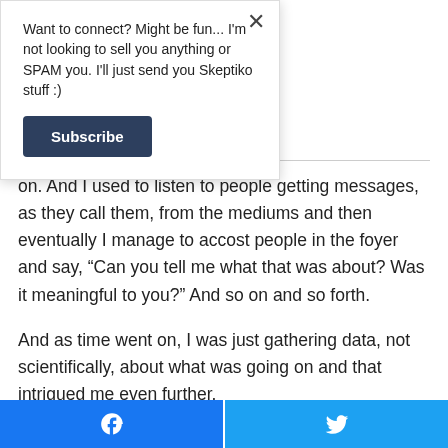Want to connect? Might be fun... I'm not looking to sell you anything or SPAM you. I'll just send you Skeptiko stuff :)
Subscribe
on. And I used to listen to people getting messages, as they call them, from the mediums and then eventually I manage to accost people in the foyer and say, "Can you tell me what that was about? Was it meaningful to you?" And so on and so forth.
And as time went on, I was just gathering data, not scientifically, about what was going on and that intrigued me even further.
And then Professor Archie Roy and I met in 1987 and he was interested in these things too and we both began to